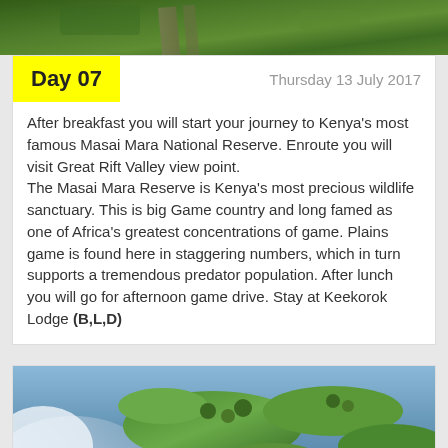[Figure (photo): Aerial photo of green landscape, partially cropped at top of page]
Day 07
Thursday 13 July 2017
After breakfast you will start your journey to Kenya's most famous Masai Mara National Reserve. Enroute you will visit Great Rift Valley view point.
The Masai Mara Reserve is Kenya's most precious wildlife sanctuary. This is big Game country and long famed as one of Africa's greatest concentrations of game. Plains game is found here in staggering numbers, which in turn supports a tremendous predator population. After lunch you will go for afternoon game drive. Stay at Keekorok Lodge (B,L,D)
[Figure (photo): Aerial photo of Victoria Falls area with water and green islands, partially cropped]
Book This Tour